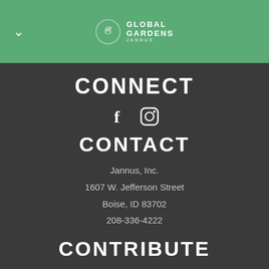Global Gardens — Jannus (logo/header bar with navigation chevron)
CONNECT
[Figure (other): Facebook and Instagram social media icons in white]
CONTACT
Jannus, Inc.
1607 W. Jefferson Street
Boise, ID 83702
208-336-4222
CONTRIBUTE
DONATE